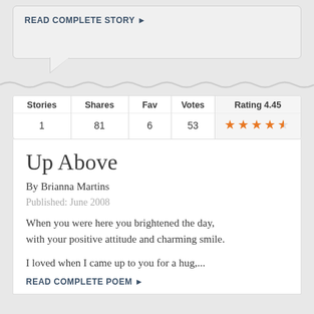READ COMPLETE STORY ▶
| Stories | Shares | Fav | Votes | Rating 4.45 |
| --- | --- | --- | --- | --- |
| 1 | 81 | 6 | 53 | ★★★★½ |
Up Above
By Brianna Martins
Published: June 2008
When you were here you brightened the day, with your positive attitude and charming smile.
I loved when I came up to you for a hug,...
READ COMPLETE POEM ▶